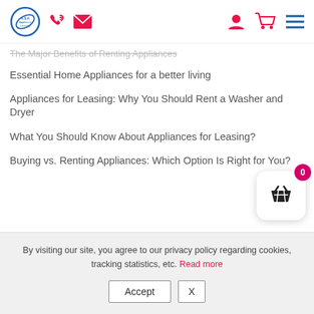ASA Appliance Leasing — navigation header with logo, phone, mail, user, cart, menu icons
The Major Benefits of Renting Appliances (faded/strikethrough)
Essential Home Appliances for a better living
Appliances for Leasing: Why You Should Rent a Washer and Dryer
What You Should Know About Appliances for Leasing?
Buying vs. Renting Appliances: Which Option Is Right for You?
By visiting our site, you agree to our privacy policy regarding cookies, tracking statistics, etc. Read more | Accept | X